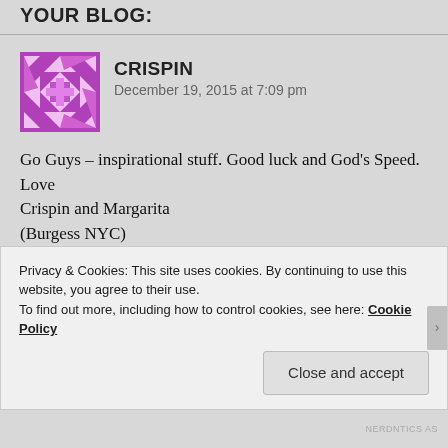YOUR BLOG:
CRISPIN
December 19, 2015 at 7:09 pm
Go Guys – inspirational stuff. Good luck and God's Speed.
Love
Crispin and Margarita
(Burgess NYC)
Like
Privacy & Cookies: This site uses cookies. By continuing to use this website, you agree to their use.
To find out more, including how to control cookies, see here: Cookie Policy
Close and accept